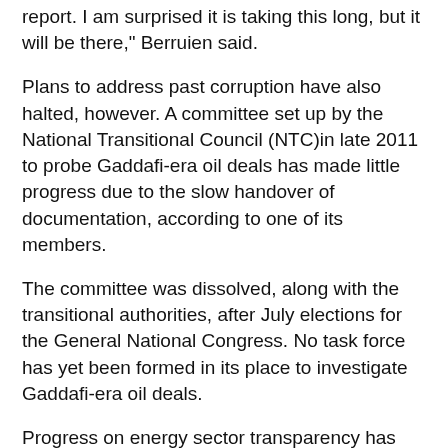report. I am surprised it is taking this long, but it will be there," Berruien said.
Plans to address past corruption have also halted, however. A committee set up by the National Transitional Council (NTC)in late 2011 to probe Gaddafi-era oil deals has made little progress due to the slow handover of documentation, according to one of its members.
The committee was dissolved, along with the transitional authorities, after July elections for the General National Congress. No task force has yet been formed in its place to investigate Gaddafi-era oil deals.
Progress on energy sector transparency has stalled, according to Tim Bittiger, a director at the Extractive Industries Transparency Initiative, an NGO that seeks to promote transparency in oil and mining.
"Indications at the moment are not that great. Partners have suggested we wait until there is a new government in place before renewing talks", he said.